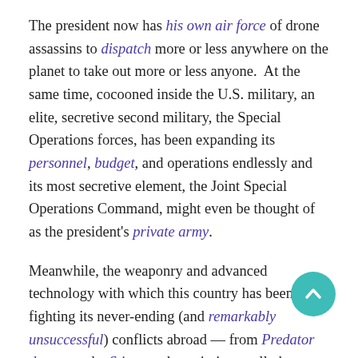The president now has his own air force of drone assassins to dispatch more or less anywhere on the planet to take out more or less anyone.  At the same time, cocooned inside the U.S. military, an elite, secretive second military, the Special Operations forces, has been expanding its personnel, budget, and operations endlessly and its most secretive element, the Joint Special Operations Command, might even be thought of as the president's private army.
Meanwhile, the weaponry and advanced technology with which this country has been fighting its never-ending (and remarkably unsuccessful) conflicts abroad — from Predator drones to the Stingray that mimics a cell phone tower and so gets nearby phones to connect to it — began migrating home, as America's borders and police forces were militarized.  The police have been supplied with weaponry and other equipment directly off the battlefields of Iraq and